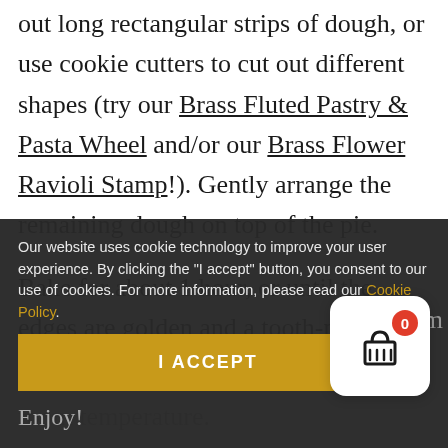out long rectangular strips of dough, or use cookie cutters to cut out different shapes (try our Brass Fluted Pastry & Pasta Wheel and/or our Brass Flower Ravioli Stamp!). Gently arrange the remaining dough on top of the pie.
Bake for about 1 hour, or until the edges are golden and a tooth-pick inserted
room temperature.
The flavor improves if allowed to rest
room temp.
Enjoy!
Our website uses cookie technology to improve your user experience. By clicking the "I accept" button, you consent to our use of cookies. For more information, please read our Cookie Policy.
I ACCEPT